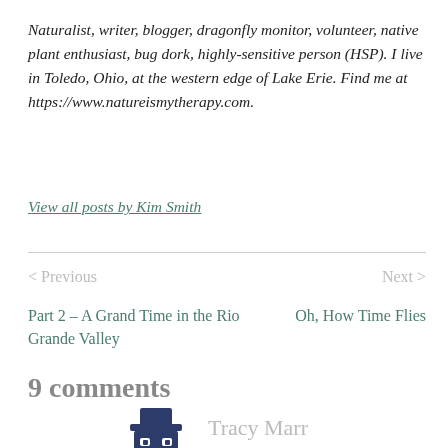Naturalist, writer, blogger, dragonfly monitor, volunteer, native plant enthusiast, bug dork, highly-sensitive person (HSP). I live in Toledo, Ohio, at the western edge of Lake Erie. Find me at https://www.natureismytherapy.com.
View all posts by Kim Smith
< Previous
Part 2 – A Grand Time in the Rio Grande Valley
Next >
Oh, How Time Flies
9 comments
[Figure (illustration): Avatar icon of a robot/character with a hat in dark navy blue]
Tracy Marr